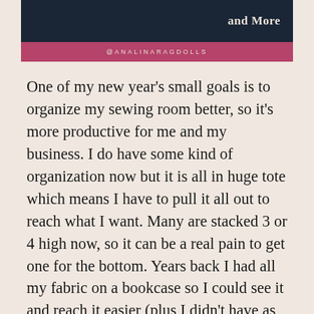and More
@ANALINARAGDOLLS
One of my new year's small goals is to organize my sewing room better, so it's more productive for me and my business. I do have some kind of organization now but it is all in huge tote which means I have to pull it all out to reach what I want. Many are stacked 3 or 4 high now, so it can be a real pain to get one for the bottom. Years back I had all my fabric on a bookcase so I could see it and reach it easier (plus I didn't have as much then either) but my fabric was starting to get sun damage so I put it all in totes. Plus, I can clean